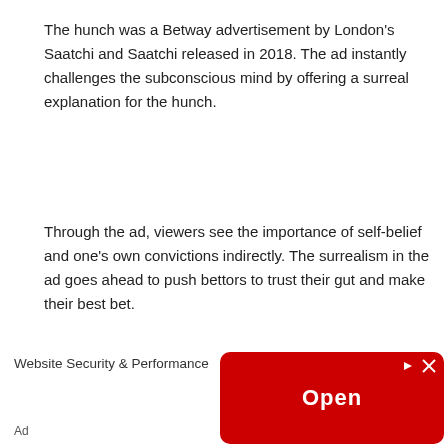The hunch was a Betway advertisement by London's Saatchi and Saatchi released in 2018. The ad instantly challenges the subconscious mind by offering a surreal explanation for the hunch.
Through the ad, viewers see the importance of self-belief and one's own convictions indirectly. The surrealism in the ad goes ahead to push bettors to trust their gut and make their best bet.
[Figure (other): Advertisement banner for Website Security & Performance with a red Open button and close/info controls]